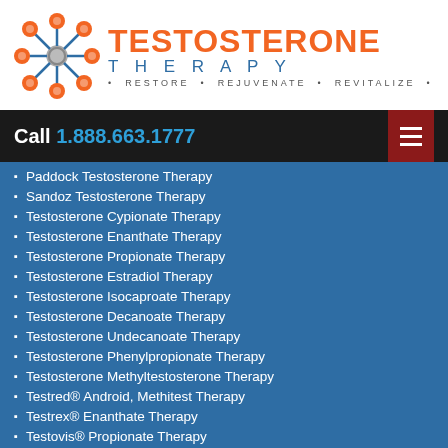[Figure (logo): Testosterone Therapy logo with blue molecular network graphic and orange/blue text reading TESTOSTERONE THERAPY - RESTORE • REJUVENATE • REVITALIZE]
Call 1.888.663.1777
Paddock Testosterone Therapy
Sandoz Testosterone Therapy
Testosterone Cypionate Therapy
Testosterone Enanthate Therapy
Testosterone Propionate Therapy
Testosterone Estradiol Therapy
Testosterone Isocaproate Therapy
Testosterone Decanoate Therapy
Testosterone Undecanoate Therapy
Testosterone Phenylpropionate Therapy
Testosterone Methyltestosterone Therapy
Testred® Android, Methitest Therapy
Testrex® Enanthate Therapy
Testovis® Propionate Therapy
Testoviron® Propionate Therapy
Aveed® Testosterone Injection
Aveed® Undecanoate Injections
Delatestryl® Enanthate Injections
Endo Pharma Testosterone Therapies
AndroDerm® Actavis Patch
AndroGel® AbbVie Topical
Androfil® Cipla Enanthate Caps
Andriol Testocaps® Oral TRT
Axiron® Eli Lilly Androgel
Testoderm® Alza Dermal Patch
Testim® Auxilium Androgen Gel
Striant® Actient Columbia Labs
Testanel® Slate / Barter Pharma